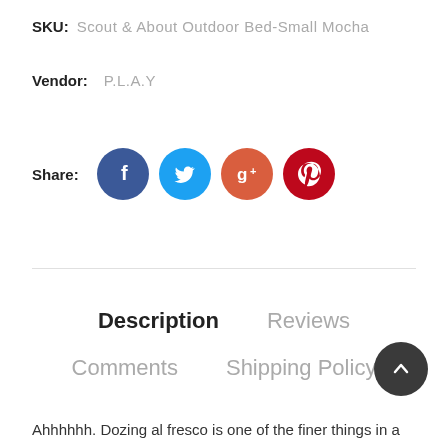SKU: Scout & About Outdoor Bed-Small Mocha
Vendor: P.L.A.Y
Share:
[Figure (illustration): Social share icons: Facebook (dark blue circle), Twitter (light blue circle), Google+ (red-orange circle), Pinterest (dark red circle)]
Description   Reviews
Comments   Shipping Policy
Ahhhhhh. Dozing al fresco is one of the finer things in a